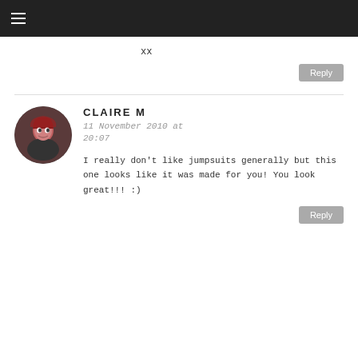≡
xx
Reply
CLAIRE M
11 November 2010 at 20:07
I really don't like jumpsuits generally but this one looks like it was made for you! You look great!!! :)
Reply